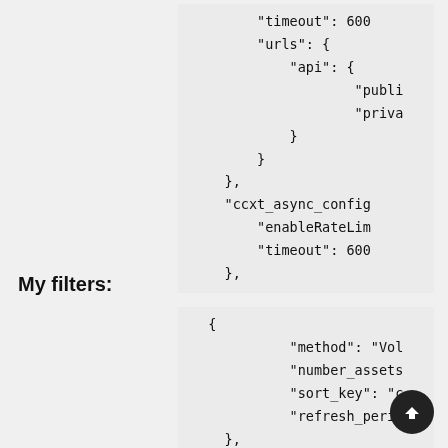"timeout": 600
"urls": {
    "api": {
            "publi
            "priva
    }
}
},
"ccxt_async_config
    "enableRateLim
    "timeout": 600
},
My filters:
{
        "method": "Vol
        "number_assets
        "sort_key": "c
        "refresh_perio
},
{"method": "AgeFil